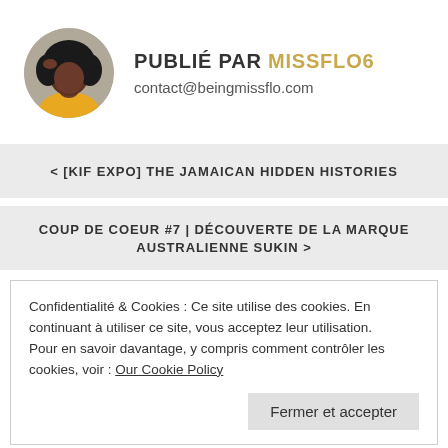PUBLIÉ PAR MISSFLO6
contact@beingmissflo.com
< [KIF EXPO] THE JAMAICAN HIDDEN HISTORIES
COUP DE COEUR #7 | DÉCOUVERTE DE LA MARQUE AUSTRALIENNE SUKIN >
Confidentialité & Cookies : Ce site utilise des cookies. En continuant à utiliser ce site, vous acceptez leur utilisation. Pour en savoir davantage, y compris comment contrôler les cookies, voir : Our Cookie Policy
Fermer et accepter
COULEUR PASTEL »